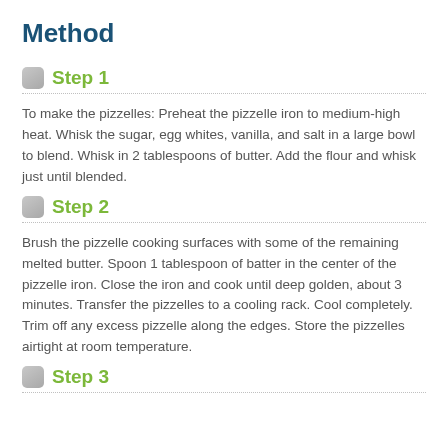Method
Step 1
To make the pizzelles: Preheat the pizzelle iron to medium-high heat. Whisk the sugar, egg whites, vanilla, and salt in a large bowl to blend. Whisk in 2 tablespoons of butter. Add the flour and whisk just until blended.
Step 2
Brush the pizzelle cooking surfaces with some of the remaining melted butter. Spoon 1 tablespoon of batter in the center of the pizzelle iron. Close the iron and cook until deep golden, about 3 minutes. Transfer the pizzelles to a cooling rack. Cool completely. Trim off any excess pizzelle along the edges. Store the pizzelles airtight at room temperature.
Step 3